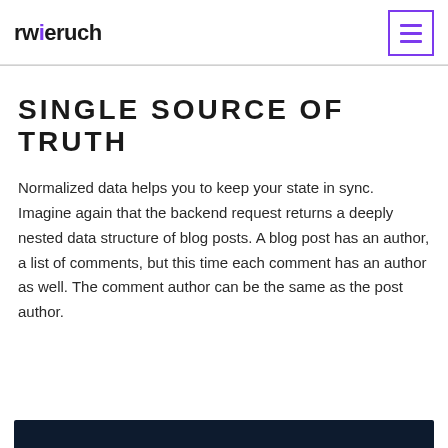rwieruch
SINGLE SOURCE OF TRUTH
Normalized data helps you to keep your state in sync. Imagine again that the backend request returns a deeply nested data structure of blog posts. A blog post has an author, a list of comments, but this time each comment has an author as well. The comment author can be the same as the post author.
[Figure (other): Dark navy/black bar at the bottom of the page, likely a code block or image header]